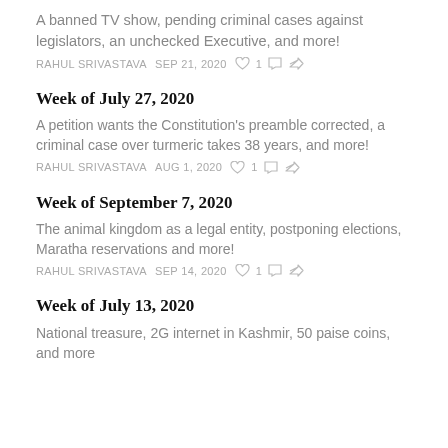A banned TV show, pending criminal cases against legislators, an unchecked Executive, and more!
RAHUL SRIVASTAVA   SEP 21, 2020   ♡ 1   ○   ↗
Week of July 27, 2020
A petition wants the Constitution's preamble corrected, a criminal case over turmeric takes 38 years, and more!
RAHUL SRIVASTAVA   AUG 1, 2020   ♡ 1   ○   ↗
Week of September 7, 2020
The animal kingdom as a legal entity, postponing elections, Maratha reservations and more!
RAHUL SRIVASTAVA   SEP 14, 2020   ♡ 1   ○   ↗
Week of July 13, 2020
National treasure, 2G internet in Kashmir, 50 paise coins, and more